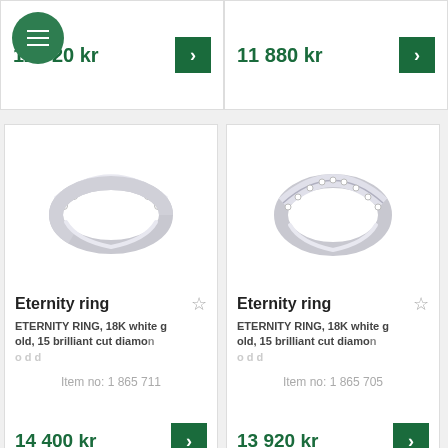12 720 kr
11 880 kr
[Figure (photo): Eternity ring in 18K white gold with 15 brilliant cut diamonds, item no 1 865 711]
Eternity ring
ETERNITY RING, 18K white gold, 15 brilliant cut diamonds
Item no: 1 865 711
14 400 kr
[Figure (photo): Eternity ring in 18K white gold with 15 brilliant cut diamonds, item no 1 865 705]
Eternity ring
ETERNITY RING, 18K white gold, 15 brilliant cut diamonds
Item no: 1 865 705
13 920 kr
[Figure (photo): Partial view of a gold eternity ring at bottom of page]
[Figure (photo): Partial view of a white gold eternity ring at bottom of page]